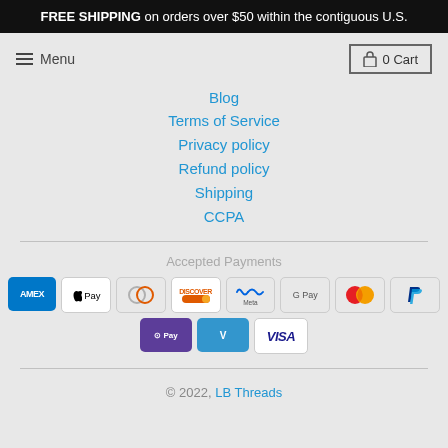FREE SHIPPING on orders over $50 within the contiguous U.S.
≡ Menu
0 Cart
Blog
Terms of Service
Privacy policy
Refund policy
Shipping
CCPA
Accepted Payments
[Figure (infographic): Accepted payment method logos: AMEX, Apple Pay, Diners Club, Discover, Meta Pay, Google Pay, Mastercard, PayPal, Shop Pay, Venmo, Visa]
© 2022, LB Threads